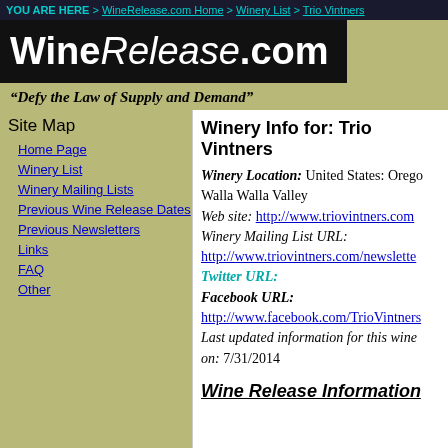YOU ARE HERE > WineRelease.com Home > Winery List > Trio Vintners
[Figure (logo): WineRelease.com logo in white text on black background]
"Defy the Law of Supply and Demand"
Site Map
Home Page
Winery List
Winery Mailing Lists
Previous Wine Release Dates
Previous Newsletters
Links
FAQ
Other
Winery Info for: Trio Vintners
Winery Location: United States: Oregon: Walla Walla Valley
Web site: http://www.triovintners.com
Winery Mailing List URL: http://www.triovintners.com/newsletter
Twitter URL:
Facebook URL:
http://www.facebook.com/TrioVintners
Last updated information for this winery on: 7/31/2014
Wine Release Information